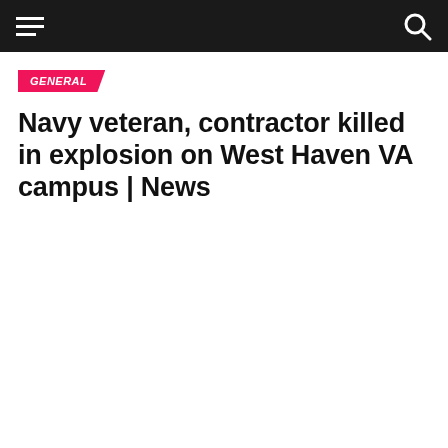GENERAL
Navy veteran, contractor killed in explosion on West Haven VA campus | News